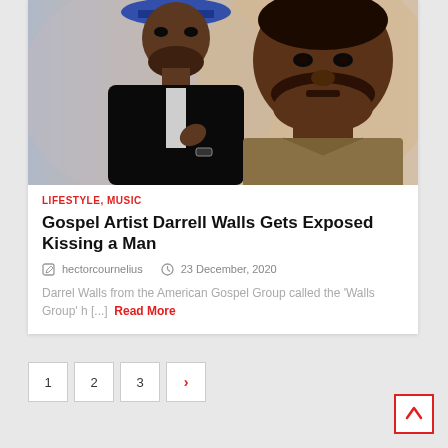[Figure (photo): Two Black men in portrait style photos side by side. Left man wears a blue hat and black suit jacket, right man wears a khaki/olive jacket and looks directly at camera.]
LIFESTYLE, MUSIC
Gospel Artist Darrell Walls Gets Exposed Kissing a Man
hectorcournelius   23 December, 2020
Darrel Walls from the American Gospel Group called the 'Walls Group' h [...] Read More